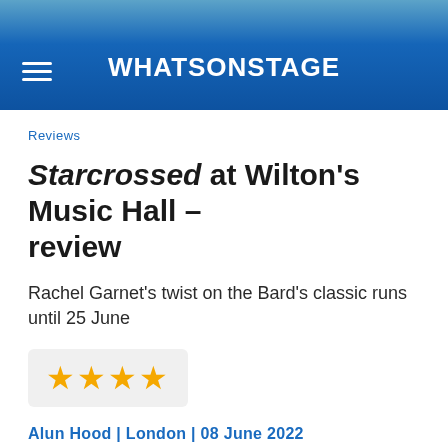WHATSONSTAGE
Reviews
Starcrossed at Wilton's Music Hall – review
Rachel Garnet's twist on the Bard's classic runs until 25 June
[Figure (other): Four gold star rating displayed in a light grey rounded box]
Alun Hood | London | 08 June 2022